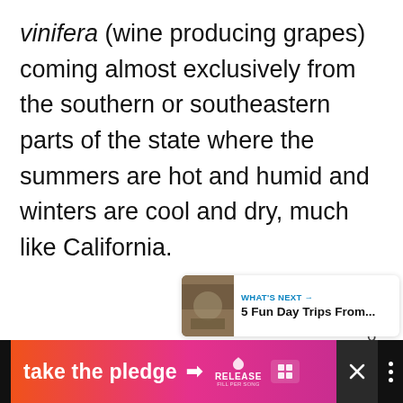vinifera (wine producing grapes) coming almost exclusively from the southern or southeastern parts of the state where the summers are hot and humid and winters are cool and dry, much like California.
[Figure (screenshot): UI widget showing a teal heart/like button with count '6' below it, and a share button (circle with share icon) below that]
[Figure (screenshot): What's Next promo widget showing a thumbnail image on the left and text 'WHAT'S NEXT → 5 Fun Day Trips From...' on the right]
[Figure (screenshot): Advertisement banner at the bottom: orange-to-pink gradient with 'take the pledge →' text, RELEASE logo, an icon box, an X close button, and a dark bar on the right]